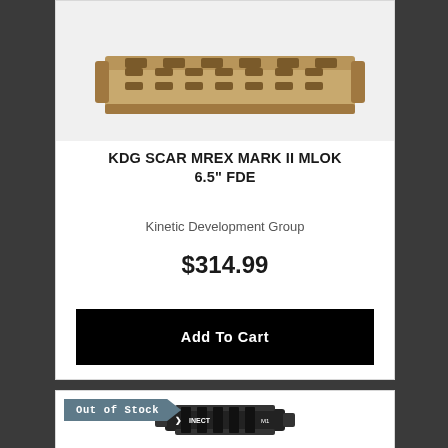[Figure (photo): KDG SCAR MREX MARK II MLOK 6.5 FDE handguard rail in flat dark earth (FDE/tan) color, shown from a slight angle on white background]
KDG SCAR MREX MARK II MLOK 6.5" FDE
Kinetic Development Group
$314.99
Add To Cart
Out of Stock
[Figure (photo): Black tactical rail accessory (INEXT brand) shown from above on white background]